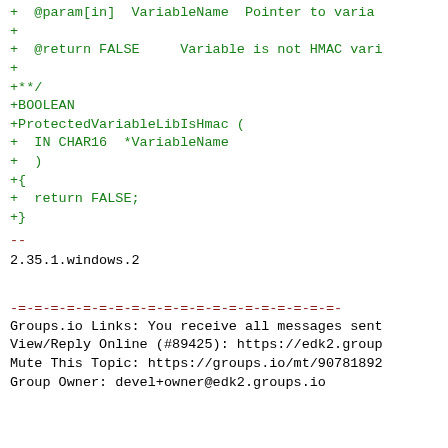+  @param[in]  VariableName  Pointer to varia
+
+  @return FALSE     Variable is not HMAC vari
+
+**/
+BOOLEAN
+ProtectedVariableLibIsHmac (
+  IN CHAR16  *VariableName
+  )
+{
+  return FALSE;
+}
--
2.35.1.windows.2
-=-=-=-=-=-=-=-=-=-=-=-=-=-=-=-=-=-=-=-=-
Groups.io Links: You receive all messages sent
View/Reply Online (#89425): https://edk2.group
Mute This Topic: https://groups.io/mt/90781892
Group Owner: devel+owner@edk2.groups.io